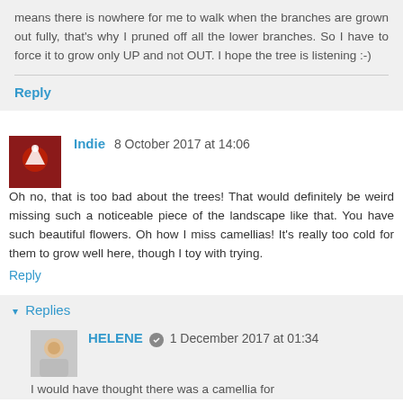means there is nowhere for me to walk when the branches are grown out fully, that's why I pruned off all the lower branches. So I have to force it to grow only UP and not OUT. I hope the tree is listening :-)
Reply
Indie  8 October 2017 at 14:06
Oh no, that is too bad about the trees! That would definitely be weird missing such a noticeable piece of the landscape like that. You have such beautiful flowers. Oh how I miss camellias! It's really too cold for them to grow well here, though I toy with trying.
Reply
▾  Replies
HELENE  🔧  1 December 2017 at 01:34
I would have thought there was a camellia for